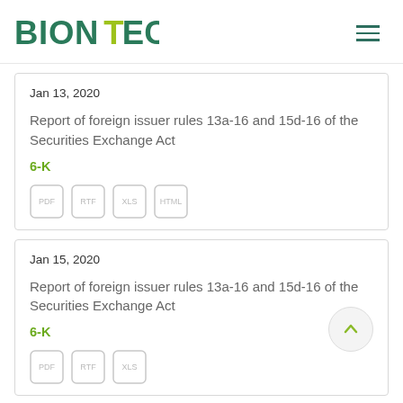BIONTECH
Jan 13, 2020
Report of foreign issuer rules 13a-16 and 15d-16 of the Securities Exchange Act
6-K
Jan 15, 2020
Report of foreign issuer rules 13a-16 and 15d-16 of the Securities Exchange Act
6-K